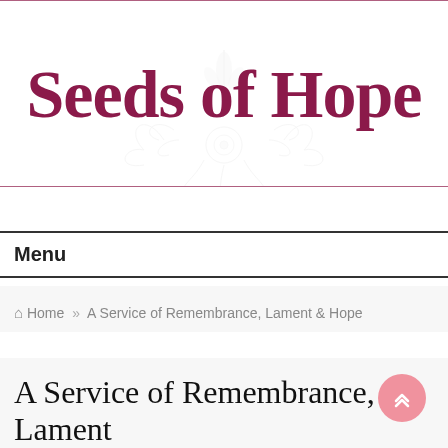[Figure (logo): Seeds of Hope logo with large dark red/maroon gothic-style text and a decorative floral/botanical motif watermark behind the text, framed by thin pink/mauve horizontal rules.]
Menu
⌂ Home » A Service of Remembrance, Lament & Hope
A Service of Remembrance, Lament